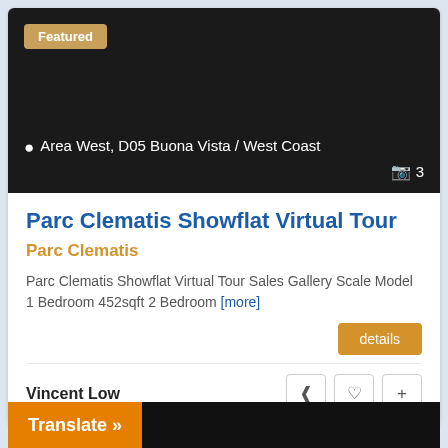[Figure (photo): Dark/black listing photo placeholder with location overlay showing 'Area West, D05 Buona Vista / West Coast' and camera icon with count 3]
Parc Clematis Showflat Virtual Tour
Parc Clematis
Parc Clematis Showflat Virtual Tour Sales Gallery Scale Model 1 Bedroom 452sqft 2 Bedroom [more]
details
Vincent Low
Translate »